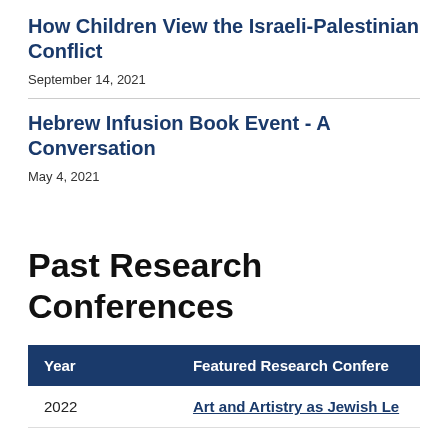How Children View the Israeli-Palestinian Conflict
September 14, 2021
Hebrew Infusion Book Event - A Conversation
May 4, 2021
Past Research Conferences
| Year | Featured Research Conference |
| --- | --- |
| 2022 | Art and Artistry as Jewish Le… |